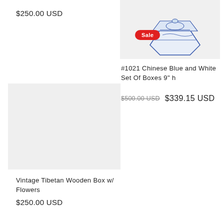$250.00 USD
[Figure (photo): Chinese blue and white porcelain box set, octagonal form, with Sale badge]
#1021 Chinese Blue and White Set Of Boxes 9" h
$500.00 USD  $339.15 USD
[Figure (photo): Placeholder image for Vintage Tibetan Wooden Box with Flowers]
Vintage Tibetan Wooden Box w/ Flowers
$250.00 USD